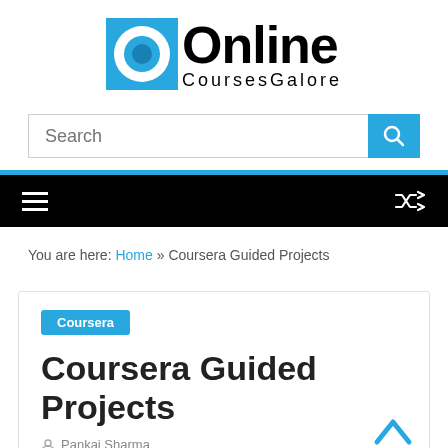[Figure (logo): Online Courses Galore logo — blue square with white circle and blue dot icon, next to bold text 'Online' and subtitle 'CoursesGalore']
[Figure (screenshot): Search bar with placeholder text 'Search' and a blue search button with magnifying glass icon]
[Figure (screenshot): Black navigation bar with hamburger menu icon on left and shuffle/random icon on right]
You are here: Home » Coursera Guided Projects
Coursera
Coursera Guided Projects
Pankaj Sharma